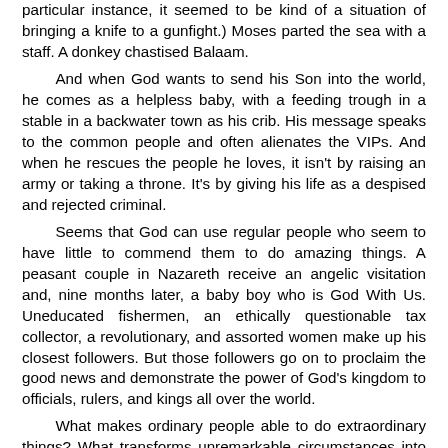particular instance, it seemed to be kind of a situation of bringing a knife to a gunfight.) Moses parted the sea with a staff. A donkey chastised Balaam.

And when God wants to send his Son into the world, he comes as a helpless baby, with a feeding trough in a stable in a backwater town as his crib. His message speaks to the common people and often alienates the VIPs. And when he rescues the people he loves, it isn't by raising an army or taking a throne. It's by giving his life as a despised and rejected criminal.

Seems that God can use regular people who seem to have little to commend them to do amazing things. A peasant couple in Nazareth receive an angelic visitation and, nine months later, a baby boy who is God With Us. Uneducated fishermen, an ethically questionable tax collector, a revolutionary, and assorted women make up his closest followers. But those followers go on to proclaim the good news and demonstrate the power of God's kingdom to officials, rulers, and kings all over the world.

What makes ordinary people able to do extraordinary things? What transforms unremarkable circumstances into remarkable acts of God? What gives nobility to what the world considers ignoble?